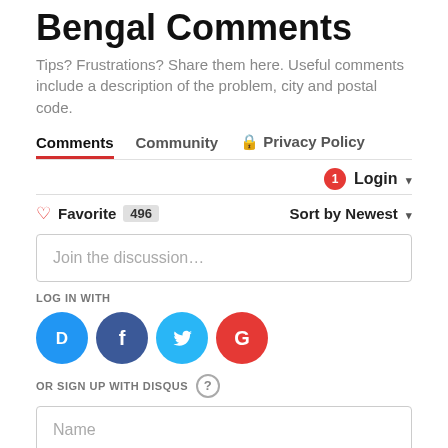Reliance Jio in Darjeeling, West Bengal Comments
Tips? Frustrations? Share them here. Useful comments include a description of the problem, city and postal code.
Comments  Community  Privacy Policy
1 Login
Favorite 496   Sort by Newest
Join the discussion…
LOG IN WITH
[Figure (infographic): Social login icons: Disqus (blue), Facebook (dark blue), Twitter (light blue), Google (red) circles]
OR SIGN UP WITH DISQUS ?
Name